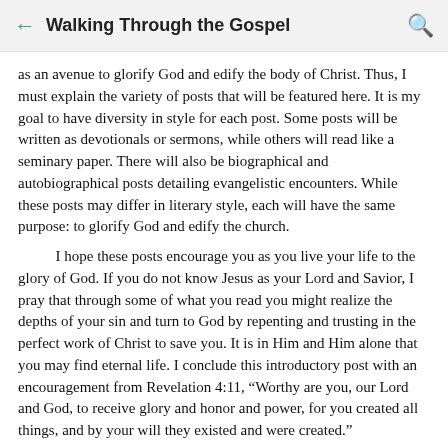Walking Through the Gospel
as an avenue to glorify God and edify the body of Christ. Thus, I must explain the variety of posts that will be featured here. It is my goal to have diversity in style for each post. Some posts will be written as devotionals or sermons, while others will read like a seminary paper. There will also be biographical and autobiographical posts detailing evangelistic encounters. While these posts may differ in literary style, each will have the same purpose: to glorify God and edify the church.
I hope these posts encourage you as you live your life to the glory of God. If you do not know Jesus as your Lord and Savior, I pray that through some of what you read you might realize the depths of your sin and turn to God by repenting and trusting in the perfect work of Christ to save you. It is in Him and Him alone that you may find eternal life. I conclude this introductory post with an encouragement from Revelation 4:11, “Worthy are you, our Lord and God, to receive glory and honor and power, for you created all things, and by your will they existed and were created.”
Ryan Itzel